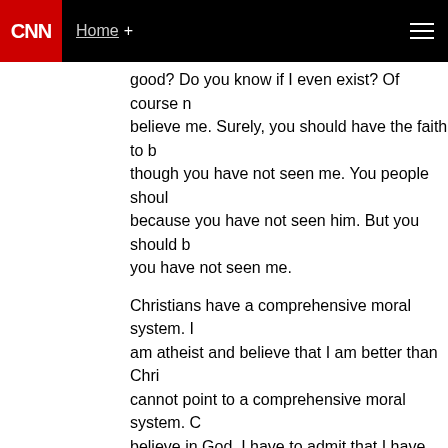CNN   Home +
good? Do you know if I even exist? Of course not believe me. Surely, you should have the faith to b though you have not seen me. You people shoul because you have not seen him. But you should b you have not seen me.
Christians have a comprehensive moral system. I am atheist and believe that I am better than Chri cannot point to a comprehensive moral system. C believe in God, I have to admit that I have not ex believe. I am speechless as far as telling you the in. Nevertheless you should believe that I am a b tians.
Trust me. Have faith in me. Believe what I say.
February 28, 2013 at 3:09 pm |
DarrellS
To systematically deny all religion and philosophy religion/philosophy itself...